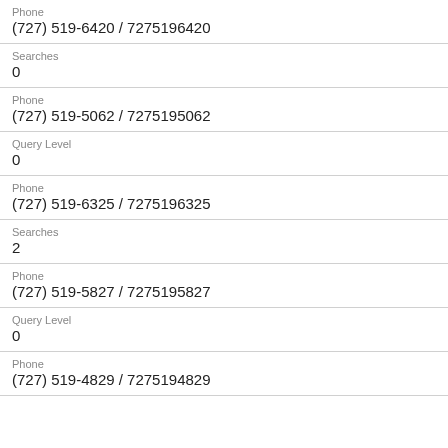Phone
(727) 519-6420 / 7275196420
Searches
0
Phone
(727) 519-5062 / 7275195062
Query Level
0
Phone
(727) 519-6325 / 7275196325
Searches
2
Phone
(727) 519-5827 / 7275195827
Query Level
0
Phone
(727) 519-4829 / 7275194829